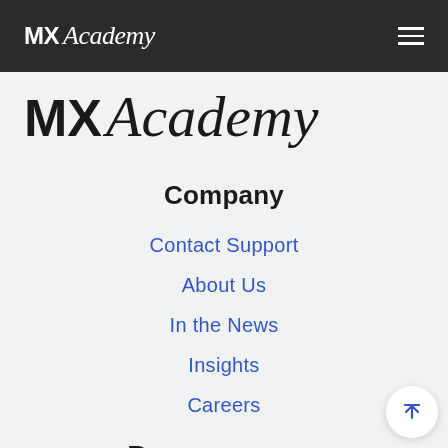MX Academy
[Figure (logo): MX Academy logo large, black text on light gray background]
Company
Contact Support
About Us
In the News
Insights
Careers
Resources
Product Updates